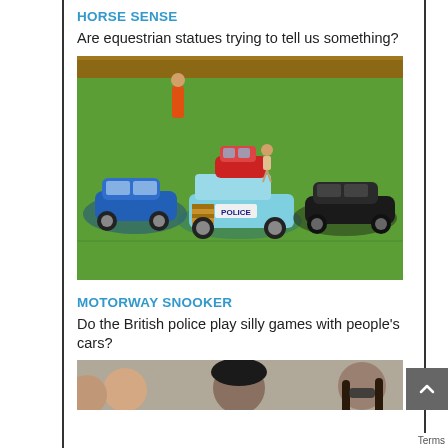HORSE SENSE
Are equestrian statues trying to tell us something?
[Figure (photo): Toy model cars arranged on a green surface resembling a snooker table. A blue car on the left, a light blue police Morris Minor wagon in the center with a red car on top and a small figure standing on it, and a black sports car on the right. A small orange-suited figure stands in the background near a wooden frame.]
MOTORWAY SNOOKER
Do the British police play silly games with people's cars?
[Figure (photo): Partial photo of a group of people, partially cropped at the bottom of the page. Several faces visible including people with long hair and sunglasses.]